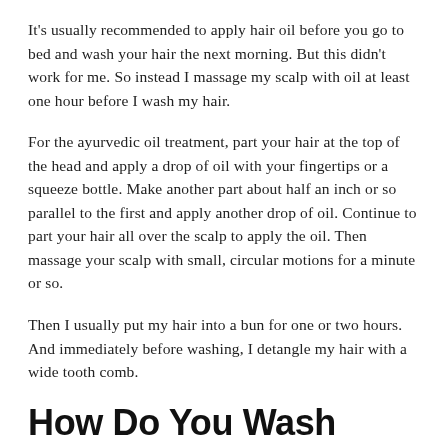It's usually recommended to apply hair oil before you go to bed and wash your hair the next morning. But this didn't work for me. So instead I massage my scalp with oil at least one hour before I wash my hair.
For the ayurvedic oil treatment, part your hair at the top of the head and apply a drop of oil with your fingertips or a squeeze bottle. Make another part about half an inch or so parallel to the first and apply another drop of oil. Continue to part your hair all over the scalp to apply the oil. Then massage your scalp with small, circular motions for a minute or so.
Then I usually put my hair into a bun for one or two hours. And immediately before washing, I detangle my hair with a wide tooth comb.
How Do You Wash Your